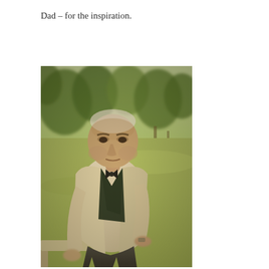Dad – for the inspiration.
[Figure (photo): An elderly man in a light beige blazer and dark shirt sitting outdoors on a bench or table, with green trees and grass in the background. The photo has a warm, slightly faded vintage tone.]